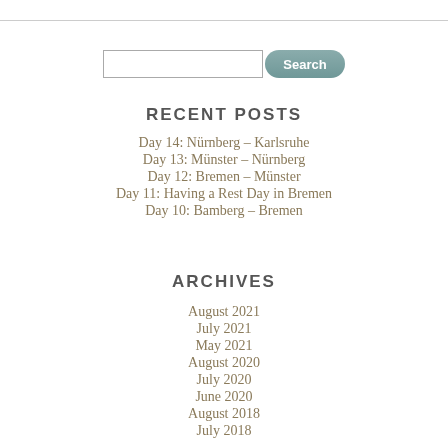[Figure (other): Search input field with Search button]
RECENT POSTS
Day 14: Nürnberg – Karlsruhe
Day 13: Münster – Nürnberg
Day 12: Bremen – Münster
Day 11: Having a Rest Day in Bremen
Day 10: Bamberg – Bremen
ARCHIVES
August 2021
July 2021
May 2021
August 2020
July 2020
June 2020
August 2018
July 2018